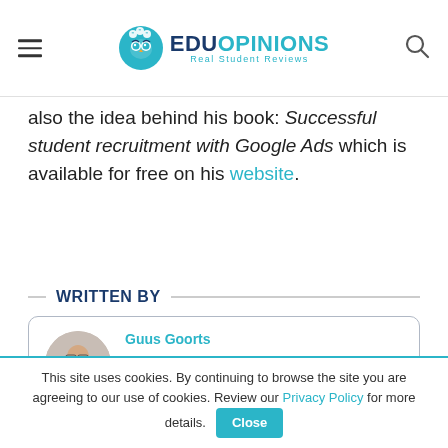EduOpinions - Real Student Reviews
also the idea behind his book: Successful student recruitment with Google Ads which is available for free on his website.
WRITTEN BY
Guus Goorts
Guus Goorts is a marketing specialist focusing on Higher Education institutions. He is the author of the book: "Successful student recruitment with Google Ads".
This site uses cookies. By continuing to browse the site you are agreeing to our use of cookies. Review our Privacy Policy for more details. Close